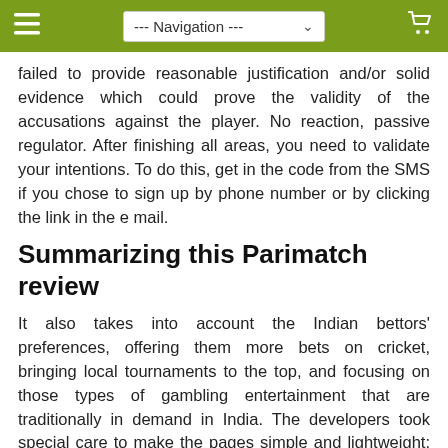--- Navigation ---
failed to provide reasonable justification and/or solid evidence which could prove the validity of the accusations against the player. No reaction, passive regulator. After finishing all areas, you need to validate your intentions. To do this, get in the code from the SMS if you chose to sign up by phone number or by clicking the link in the e mail.
Summarizing this Parimatch review
It also takes into account the Indian bettors' preferences, offering them more bets on cricket, bringing local tournaments to the top, and focusing on those types of gambling entertainment that are traditionally in demand in India. The developers took special care to make the pages simple and lightweight: this allows you to easily open them on any gadget. How to Open a Pinnacle Account. How to Transfer Money from NETELLER to Pinnacle. The skilled customer support team of Parimatch is available to answer your questions. You can connect them via email or phone number mentioned on the